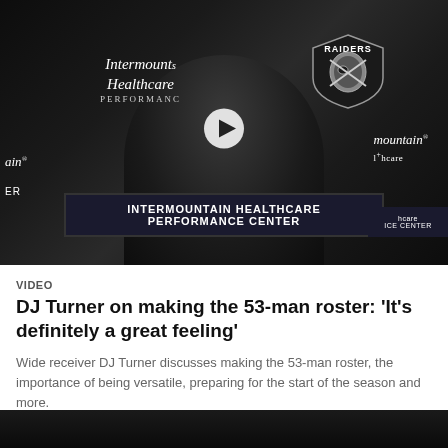[Figure (screenshot): Video thumbnail showing DJ Turner at a press conference podium at the Intermountain Healthcare Performance Center with Raiders branding in the background. A play button is visible in the center.]
VIDEO
DJ Turner on making the 53-man roster: 'It's definitely a great feeling'
Wide receiver DJ Turner discusses making the 53-man roster, the importance of being versatile, preparing for the start of the season and more.
[Figure (photo): Bottom dark strip, partial view of another video thumbnail]